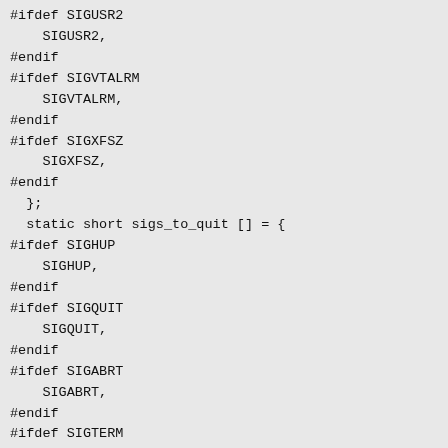#ifdef SIGUSR2
    SIGUSR2,
#endif
#ifdef SIGVTALRM
    SIGVTALRM,
#endif
#ifdef SIGXFSZ
    SIGXFSZ,
#endif
  };
  static short sigs_to_quit [] = {
#ifdef SIGHUP
    SIGHUP,
#endif
#ifdef SIGQUIT
    SIGQUIT,
#endif
#ifdef SIGABRT
    SIGABRT,
#endif
#ifdef SIGTERM
    SIGTERM,
#endif
#ifdef SIGXCPU
    SIGXCPU,
#endif
  };
  int i;
  void (*throw_handler)() = die_on_signal ? graceful_exit
#ifdef SIGWIN...